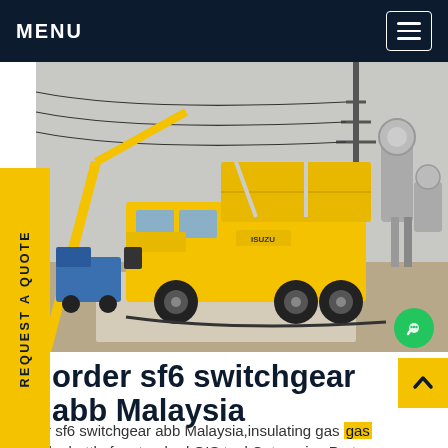MENU
[Figure (photo): Yellow Isuzu utility/service truck at an electrical substation or construction site, with overhead power line structures, cranes, and industrial equipment in the background.]
order sf6 switchgear abb Malaysia
order sf6 switchgear abb Malaysia,insulating gas gas in 12kg bottle for standard GIS tool Categories Parts